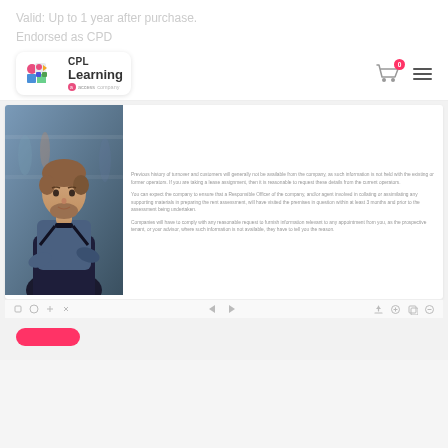Valid: Up to 1 year after purchase.
Endorsed as CPD
[Figure (logo): CPL Learning logo by Access company]
[Figure (photo): Young man with beard wearing black apron, arms crossed, in a cafe/bar setting]
Previous history of turnover and customers will generally not be available from the company, as such information is not held with the existing or former operators. If you are taking a lease assignment, then it is reasonable to request these details from the current operators.
You can expect the company to ensure that a Responsible Officer of the company, and/or agent involved in collating or assimilating any supporting materials in preparing the rent assessment, will have visited the premises in question within at least 3 months and prior to the assessment being undertaken.
Companies will have to comply with any reasonable request to furnish information relevant to any appointment from you, as the prospective tenant, or your advisor, where such information is not available, they have to tell you the reason.
[Figure (screenshot): Navigation controls for slideshow player with arrows and action icons]